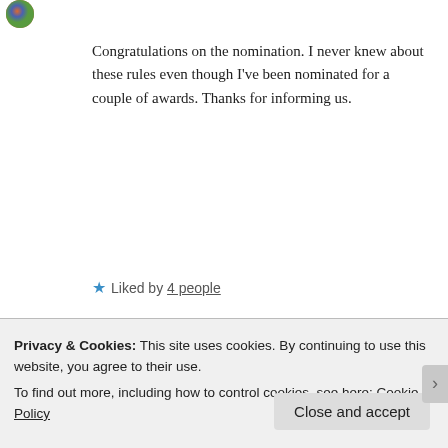[Figure (photo): Small circular avatar image with colorful pattern in top left corner]
Congratulations on the nomination. I never knew about these rules even though I've been nominated for a couple of awards. Thanks for informing us.
★ Liked by 4 people
Reply
Chaoniy says:
Privacy & Cookies: This site uses cookies. By continuing to use this website, you agree to their use.
To find out more, including how to control cookies, see here: Cookie Policy
Close and accept